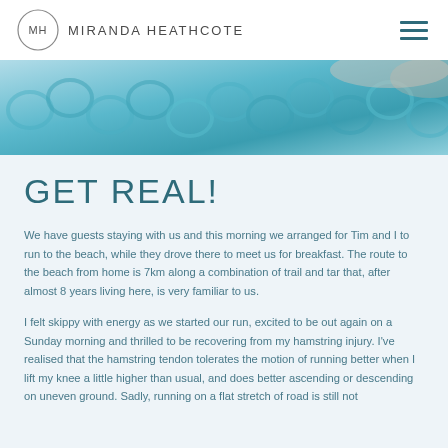MH MIRANDA HEATHCOTE
[Figure (photo): Close-up photo of teal/turquoise knitted or crocheted textile, cropped across the top portion of the page.]
GET REAL!
We have guests staying with us and this morning we arranged for Tim and I to run to the beach, while they drove there to meet us for breakfast. The route to the beach from home is 7km along a combination of trail and tar that, after almost 8 years living here, is very familiar to us.
I felt skippy with energy as we started our run, excited to be out again on a Sunday morning and thrilled to be recovering from my hamstring injury. I've realised that the hamstring tendon tolerates the motion of running better when I lift my knee a little higher than usual, and does better ascending or descending on uneven ground. Sadly, running on a flat stretch of road is still not without discomfort.